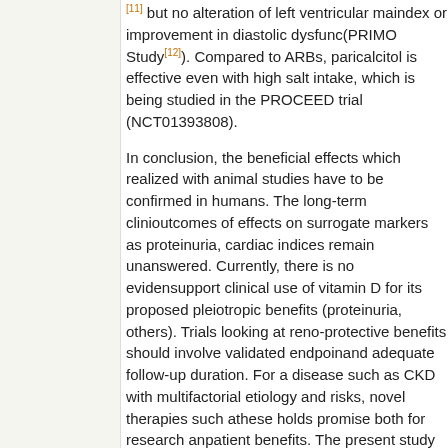[11] but no alteration of left ventricular mass index or improvement in diastolic dysfunction (PRIMO Study[12]). Compared to ARBs, paricalcitol is effective even with high salt intake, which is being studied in the PROCEED trial (NCT01393808).
In conclusion, the beneficial effects which realized with animal studies have to be confirmed in humans. The long-term clinical outcomes of effects on surrogate markers such as proteinuria, cardiac indices remain unanswered. Currently, there is no evidence to support clinical use of vitamin D for its proposed pleiotropic benefits (proteinuria, and others). Trials looking at reno-protective benefits should involve validated endpoints and adequate follow-up duration. For a disease such as CKD with multifactorial etiology and risks, novel therapies such as these holds promise both for research and patient benefits. The present study contributes in a small way toward that.